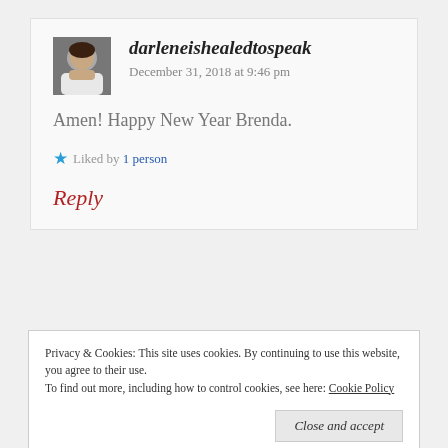darleneishealedtospeak
December 31, 2018 at 9:46 pm
Amen! Happy New Year Brenda.
Liked by 1 person
Reply
Privacy & Cookies: This site uses cookies. By continuing to use this website, you agree to their use. To find out more, including how to control cookies, see here: Cookie Policy
Close and accept